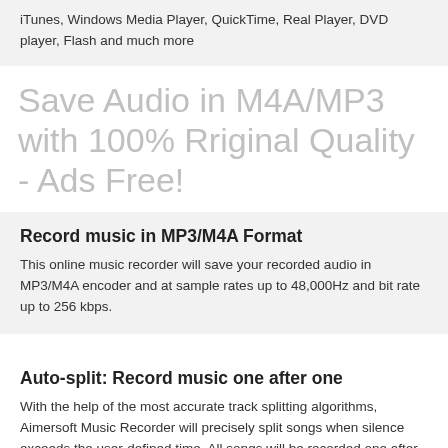iTunes, Windows Media Player, QuickTime, Real Player, DVD player, Flash and much more
Save Audio in M4A/MP3 with 100% Rriginal Quality - Ads Free!
Record music in MP3/M4A Format
This online music recorder will save your recorded audio in MP3/M4A encoder and at sample rates up to 48,000Hz and bit rate up to 256 kbps.
Auto-split: Record music one after one
With the help of the most accurate track splitting algorithms, Aimersoft Music Recorder will precisely split songs when silence exceeds the user-defined time. All songs will be recorded one after one.